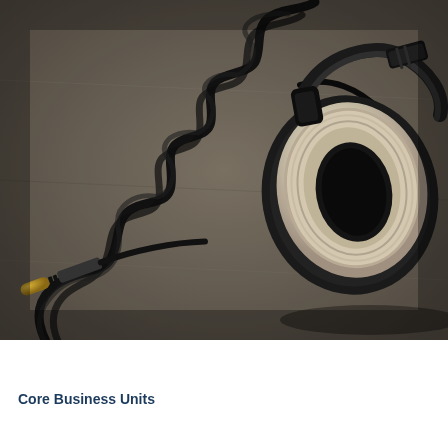[Figure (photo): Close-up photograph of over-ear studio headphones with a coiled black cable resting on a gray surface. The headphone ear cup shows fabric/velour padding in beige/cream color with a black plastic housing. A gold-tipped 3.5mm audio jack plug is visible in the lower left corner.]
Core Business Units